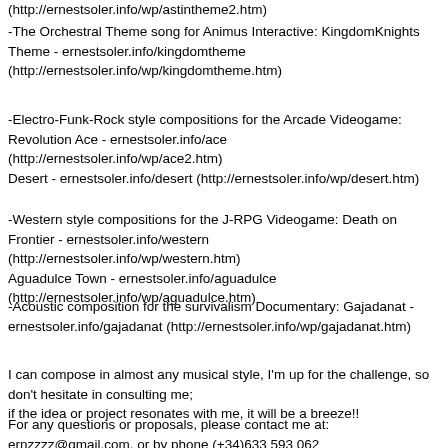(http://ernestsoler.info/wp/astintheme2.htm)
-The Orchestral Theme song for Animus Interactive: KingdomKnights Theme - ernestsoler.info/kingdomtheme (http://ernestsoler.info/wp/kingdomtheme.htm)
-Electro-Funk-Rock style compositions for the Arcade Videogame:
Revolution Ace - ernestsoler.info/ace (http://ernestsoler.info/wp/ace2.htm)
Desert - ernestsoler.info/desert (http://ernestsoler.info/wp/desert.htm)
-Western style compositions for the J-RPG Videogame: Death on Frontier - ernestsoler.info/western (http://ernestsoler.info/wp/western.htm)
Aguadulce Town - ernestsoler.info/aguadulce (http://ernestsoler.info/wp/aguadulce.htm)
-Acoustic composition for the survivalism Documentary: Gajadanat - ernestsoler.info/gajadanat (http://ernestsoler.info/wp/gajadanat.htm)
I can compose in almost any musical style, I'm up for the challenge, so don't hesitate in consulting me;
if the idea or project resonates with me, it will be a breeze!!
For any questions or proposals, please contact me at:
ernzzzz@gmail.com, or by phone (+34)633 593 062